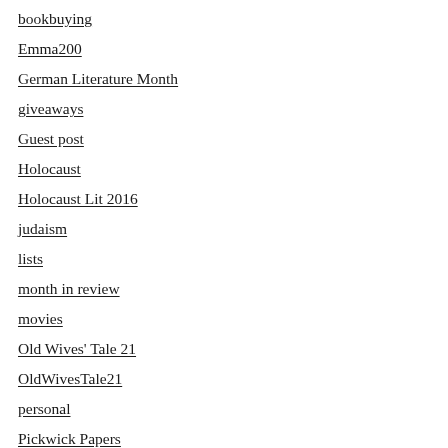bookbuying
Emma200
German Literature Month
giveaways
Guest post
Holocaust
Holocaust Lit 2016
judaism
lists
month in review
movies
Old Wives' Tale 21
OldWivesTale21
personal
Pickwick Papers